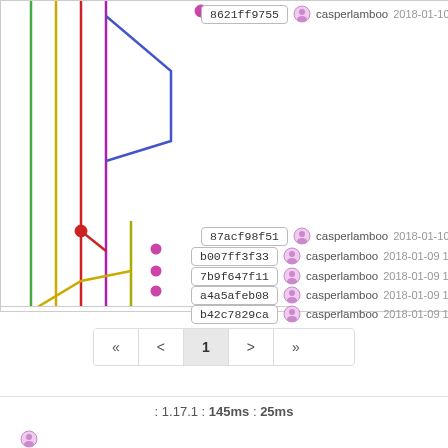[Figure (other): Git commit graph with colored branch lines (green, yellow, red, purple, blue, olive) and commit nodes. Shows a branching history visualization with multiple parallel tracks.]
8621ff9755  casperlamboo  2018-01-10 1
87acf98f51  casperlamboo  2018-01-10 1
b007ff3f33  casperlamboo  2018-01-09 1
7b9f647f11  casperlamboo  2018-01-09 1
a4a5afeb08  casperlamboo  2018-01-09 1
b42c7829ca  casperlamboo  2018-01-09 1
« < 1 > »
: 1.17.1 : 145ms : 25ms